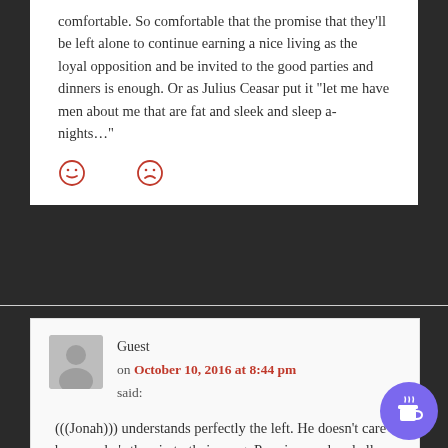comfortable. So comfortable that the promise that they'll be left alone to continue earning a nice living as the loyal opposition and be invited to the good parties and dinners is enough. Or as Julius Ceasar put it “let me have men about me that are fat and sleek and sleep a-nights…”
[Figure (other): Two emoji-style reaction icons: a neutral/slightly-smiling face and a sad face, both in red outline style]
Guest
on October 10, 2016 at 8:44 pm
said:
(((Jonah))) understands perfectly the left. He doesn’t care because he’s the yin to their yang. Peas in a pod and all that.